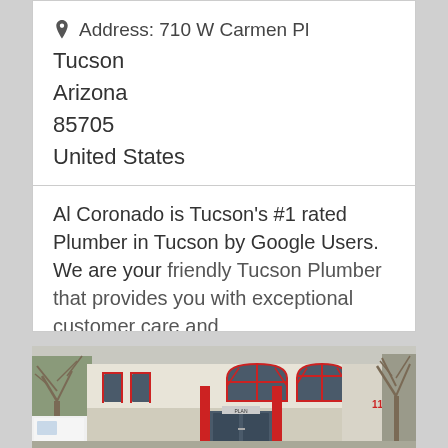Address: 710 W Carmen Pl
Tucson
Arizona
85705
United States
Al Coronado is Tucson's #1 rated Plumber in Tucson by Google Users. We are your friendly Tucson Plumber that provides you with exceptional customer care and
Read more...
[Figure (photo): Exterior photo of a commercial building with arched windows and red accents, red entry doors, and bare winter trees visible on both sides. A white van is partially visible on the left.]